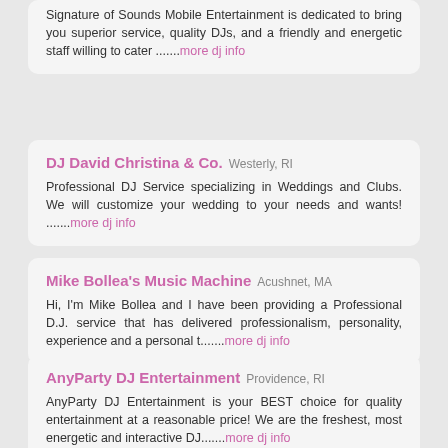Signature of Sounds Mobile Entertainment is dedicated to bring you superior service, quality DJs, and a friendly and energetic staff willing to cater .......more dj info
DJ David Christina & Co. Westerly, RI
Professional DJ Service specializing in Weddings and Clubs. We will customize your wedding to your needs and wants! .......more dj info
Mike Bollea's Music Machine Acushnet, MA
Hi, I'm Mike Bollea and I have been providing a Professional D.J. service that has delivered professionalism, personality, experience and a personal t.......more dj info
AnyParty DJ Entertainment Providence, RI
AnyParty DJ Entertainment is your BEST choice for quality entertainment at a reasonable price! We are the freshest, most energetic and interactive DJ.......more dj info